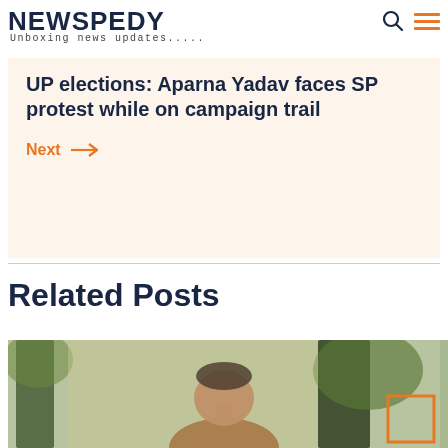NEWSPEDY — Unboxing news updates.....
UP elections: Aparna Yadav faces SP protest while on campaign trail
Next →
Related Posts
[Figure (photo): Blurred photo of a person outdoors with trees in the background. An orange outlined square overlay appears in the bottom right corner.]